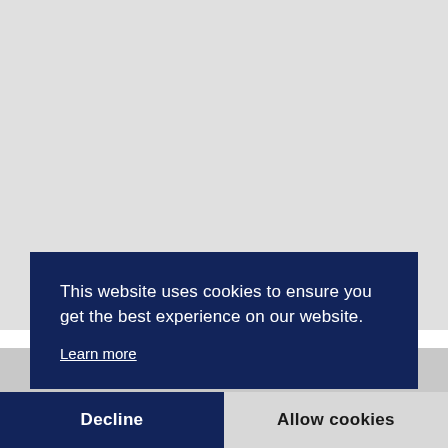[Figure (screenshot): Gray placeholder area representing a webpage background or image area]
This website uses cookies to ensure you get the best experience on our website.
Learn more
Decline
Allow cookies
Ryanair Canceling 8 Routes to